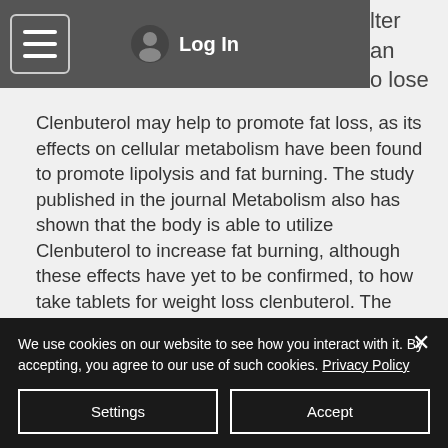Log In
Clenbuterol may help to promote fat loss, as its effects on cellular metabolism have been found to promote lipolysis and fat burning. The study published in the journal Metabolism also has shown that the body is able to utilize Clenbuterol to increase fat burning, although these effects have yet to be confirmed, to how take tablets for weight loss clenbuterol. The researchers also mentioned that although Clenbuterol is
We use cookies on our website to see how you interact with it. By accepting, you agree to our use of such cookies. Privacy Policy
Settings
Accept